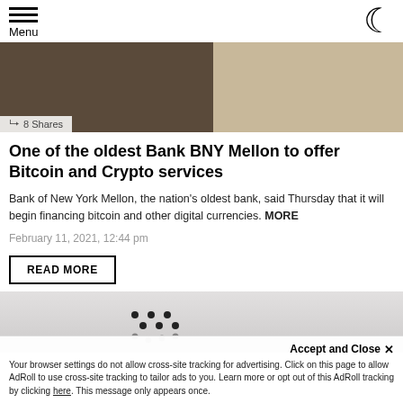Menu
[Figure (photo): Hero image split: left dark brown textured surface, right light wood railing with white background. Shows '8 Shares' overlay at bottom left.]
One of the oldest Bank BNY Mellon to offer Bitcoin and Crypto services
Bank of New York Mellon, the nation's oldest bank, said Thursday that it will begin financing bitcoin and other digital currencies. MORE
February 11, 2021, 12:44 pm
READ MORE
[Figure (photo): Partial image showing light gray surface with small dark dot pattern arrangement.]
Accept and Close ✕
Your browser settings do not allow cross-site tracking for advertising. Click on this page to allow AdRoll to use cross-site tracking to tailor ads to you. Learn more or opt out of this AdRoll tracking by clicking here. This message only appears once.